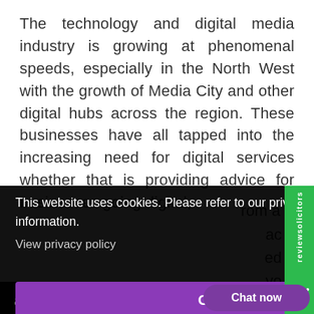The technology and digital media industry is growing at phenomenal speeds, especially in the North West with the growth of Media City and other digital hubs across the region. These businesses have all tapped into the increasing need for digital services whether that is providing advice for businesses going digital,
[Figure (screenshot): Cookie consent overlay banner with dark background, text 'This website uses cookies. Please refer to our privacy policy for more information.' with 'View privacy policy' link, a purple 'Got it!' button, and a 'Chat now' purple button at the bottom. A green 'reviewsolicitors' badge is visible on the right side.]